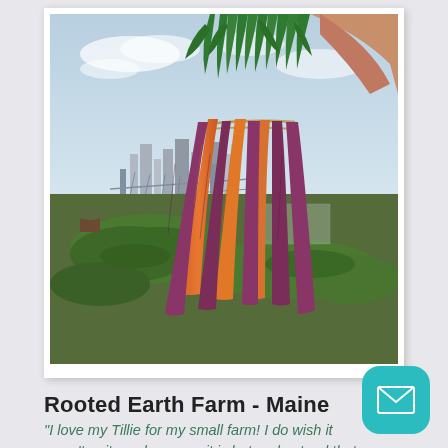[Figure (photo): Polaroid-style photo of a hand holding a bunch of orange and purple carrots with green tops, with a rooftop farm in the foreground and a city skyline and bridge in the background]
Rooted Earth Farm - Maine
“I love my Tillie for my small farm! I do wish it wasn’t quite as heavy as it is but understand that